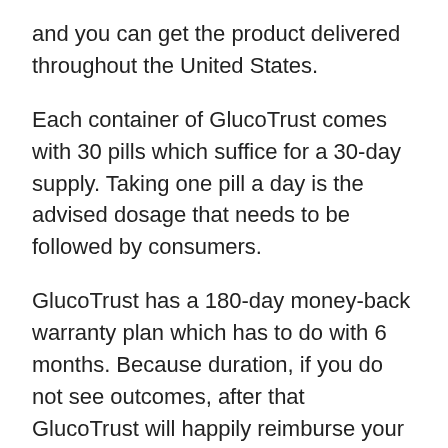and you can get the product delivered throughout the United States.
Each container of GlucoTrust comes with 30 pills which suffice for a 30-day supply. Taking one pill a day is the advised dosage that needs to be followed by consumers.
GlucoTrust has a 180-day money-back warranty plan which has to do with 6 months. Because duration, if you do not see outcomes, after that GlucoTrust will happily reimburse your money. You can ask for a reimbursement by calling the customer support staff of the company. Afterwards, the business will certainly process your refund request within a day Glucotrust Web